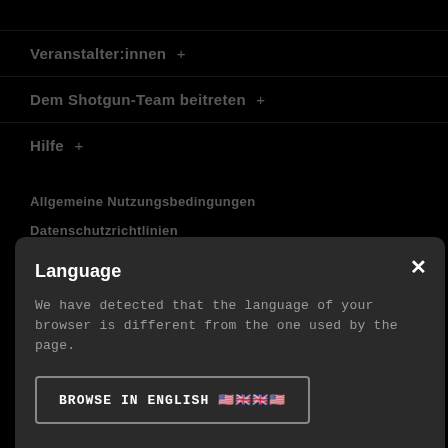Veranstalter:innen +
Dem Shotgun-Team beitreten +
Hilfe +
Allgemeine Nutzungsbedingungen
Datenschutzrichtlinien
Gesetzliche Hinweise
Datenschutz-Grundverord...
Language
We have detected that the language of your browser is different from the one used by the page.
BROWSE IN ENGLISH 🇺🇸🇬🇧
© 2022 Shotgun. Alle Rechte vorbehalten.